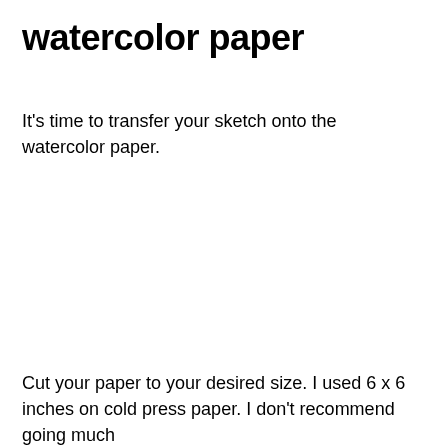watercolor paper
It's time to transfer your sketch onto the watercolor paper.
Cut your paper to your desired size. I used 6 x 6 inches on cold press paper. I don't recommend going much